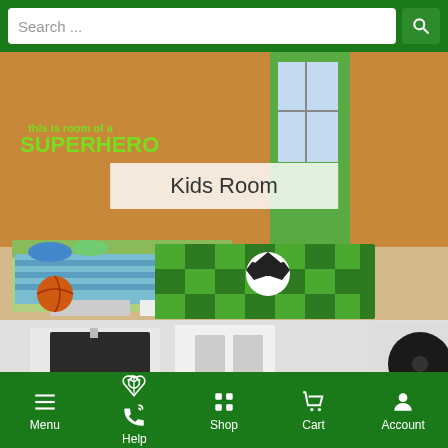[Figure (screenshot): Mobile e-commerce app screenshot showing a search bar at the top on a green background, a hero image of a Kids Room with orange and green themed bedroom furniture, soccer ball, and a green checkered rug with 'Kids Room' text overlay, a product image strip below, and a green bottom navigation bar with Menu, Help, Shop, Cart, Account icons.]
Search ...
Kids Room
Menu  Help  Shop  Cart  Account